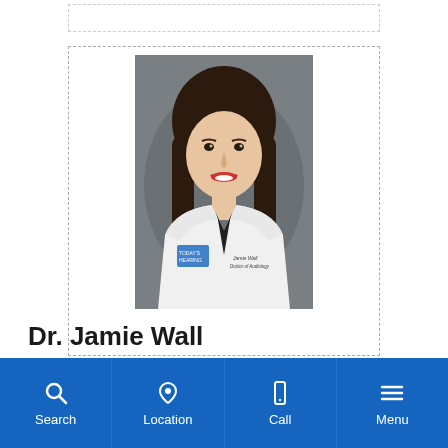[Figure (photo): Professional headshot of Dr. Jamie Wall, a woman with long brown hair wearing a white medical coat with 'Today's Hearing' logo and embroidered name tag reading 'Jamie Wall, Doctor of Audiology', smiling, against a gray background.]
Dr. Jamie Wall
Search | Location | Call | Menu